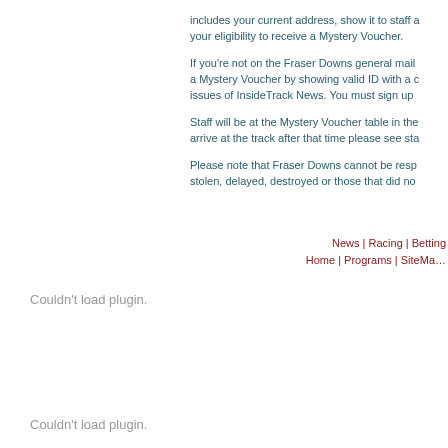includes your current address, show it to staff a... your eligibility to receive a Mystery Voucher.
If you're not on the Fraser Downs general mail... a Mystery Voucher by showing valid ID with a c... issues of InsideTrack News. You must sign up...
Staff will be at the Mystery Voucher table in the... arrive at the track after that time please see sta...
Please note that Fraser Downs cannot be resp... stolen, delayed, destroyed or those that did no...
[Figure (other): Couldn't load plugin. (first instance)]
[Figure (other): Couldn't load plugin. (second instance)]
...
News | Racing | Betting | Home | Programs | SiteMap